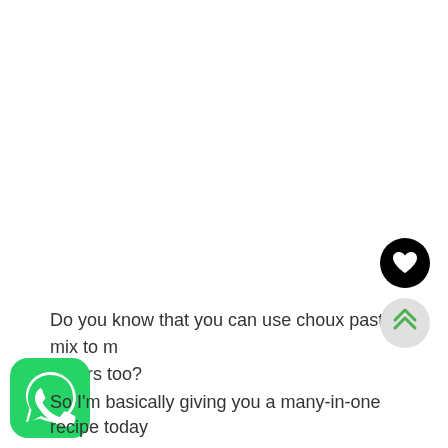Do you know that you can use choux pastry mix to make eclairs too?
[Figure (logo): Black circle with white heart icon (like/favorite button)]
[Figure (logo): Light gray circle with green double chevron up arrow (scroll to top button)]
[Figure (logo): WhatsApp logo: green rounded square with white phone handset in speech bubble]
So I'm basically giving you a many-in-one recipe today